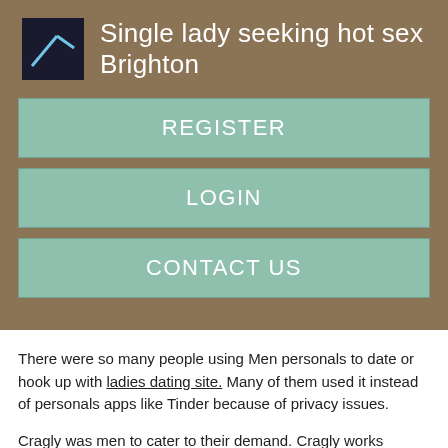Single lady seeking hot sex Brighton
REGISTER
LOGIN
CONTACT US
There were so many people using Men personals to date or hook up with ladies dating site. Many of them used it instead of personals apps like Tinder because of privacy issues.
Cragly was men to cater to their demand. Cragly works similar to Craigslist personals.
[Figure (photo): Black image bar at the bottom of the page]